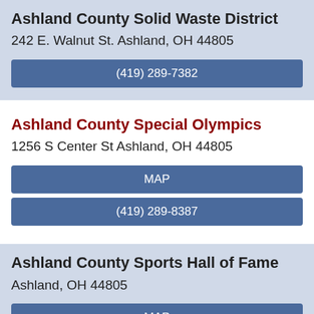Ashland County Solid Waste District
242 E. Walnut St. Ashland, OH 44805
(419) 289-7382
Ashland County Special Olympics
1256 S Center St Ashland, OH 44805
MAP
(419) 289-8387
Ashland County Sports Hall of Fame
Ashland, OH 44805
MAP